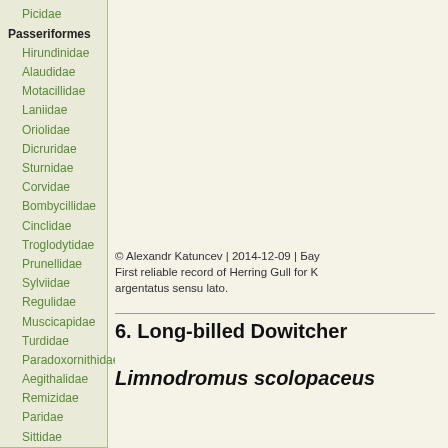Picidae
Passeriformes
Hirundinidae
Alaudidae
Motacillidae
Laniidae
Oriolidae
Dicruridae
Sturnidae
Corvidae
Bombycillidae
Cinclidae
Troglodytidae
Prunellidae
Sylviidae
Regulidae
Muscicapidae
Turdidae
Paradoxornithidae
Aegithalidae
Remizidae
Paridae
Sittidae
Certhiidae
Ploceidae
Fringillidae
Emberizidae
© Alexandr Katuncev | 2014-12-09 | Бау
First reliable record of Herring Gull for K argentatus sensu lato.
6. Long-billed Dowitcher
Limnodromus scolopaceus